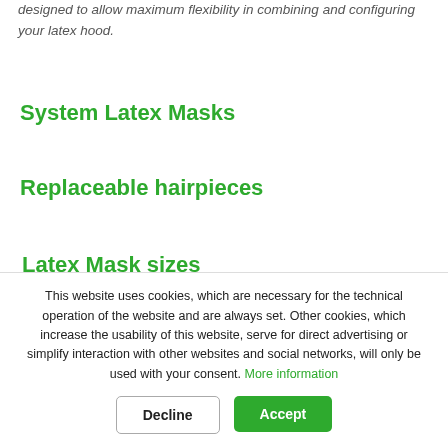designed to allow maximum flexibility in combining and configuring your latex hood.
System Latex Masks
Replaceable hairpieces
Latex Mask sizes
Tubes for hairpieces
This website uses cookies, which are necessary for the technical operation of the website and are always set. Other cookies, which increase the usability of this website, serve for direct advertising or simplify interaction with other websites and social networks, will only be used with your consent. More information
Decline  Accept